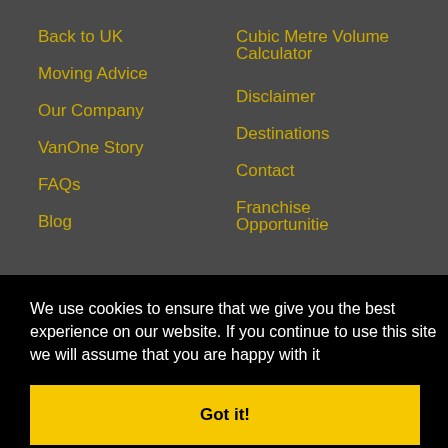Back to UK
Moving Advice
Our Company
VanOne Story
FAQs
Blog
Cubic Metre Volume Calculator
Disclaimer
Destinations
Contact
Franchise Opportunities
We use cookies to ensure that we give you the best experience on our website. If you continue to use this site we will assume that you are happy with it
Got it!